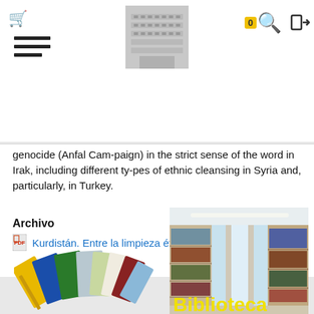[Figure (screenshot): Website header with shopping cart icon, hamburger menu, institutional building logo/crest in gray, search icon with badge showing 0, and logout icon]
genocide (Anfal Cam-paign) in the strict sense of the word in Irak, including different ty-pes of ethnic cleansing in Syria and, particularly, in Turkey.
Archivo
Kurdistán. Entre la limpieza étnica y el genocidio.
[Figure (photo): Fan of colorful publication booklets/journals spread out]
[Figure (photo): Library interior with bookshelves and the text 'Biblioteca' overlaid in yellow]